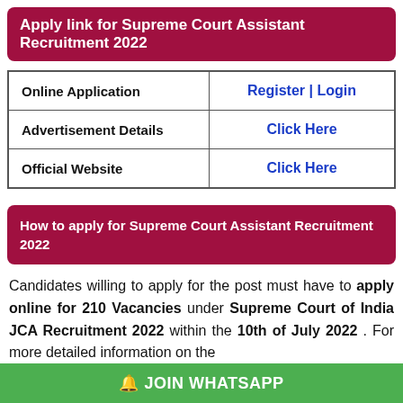Apply link for Supreme Court Assistant Recruitment 2022
|  |  |
| --- | --- |
| Online Application | Register | Login |
| Advertisement Details | Click Here |
| Official Website | Click Here |
How to apply for Supreme Court Assistant Recruitment 2022
Candidates willing to apply for the post must have to apply online for 210 Vacancies under Supreme Court of India JCA Recruitment 2022 within the 10th of July 2022 . For more detailed information on the
🔔 JOIN WHATSAPP